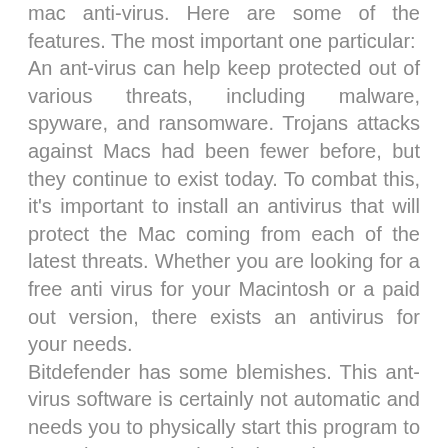mac anti-virus. Here are some of the features. The most important one particular: An ant-virus can help keep protected out of various threats, including malware, spyware, and ransomware. Trojans attacks against Macs had been fewer before, but they continue to exist today. To combat this, it's important to install an antivirus that will protect the Mac coming from each of the latest threats. Whether you are looking for a free anti virus for your Macintosh or a paid out version, there exists an antivirus for your needs. Bitdefender has some blemishes. This ant-virus software is certainly not automatic and needs you to physically start this program to scan the Mac. It also lacks tools to protect the Mac right from online dangers, such as phishing electronic mails. A good antivirus security software solution should provide 24/7 customer support to assist you if you need that. And don't forget for making regular back up copies of your documents and programs! These are the first line of defense against ransomware.